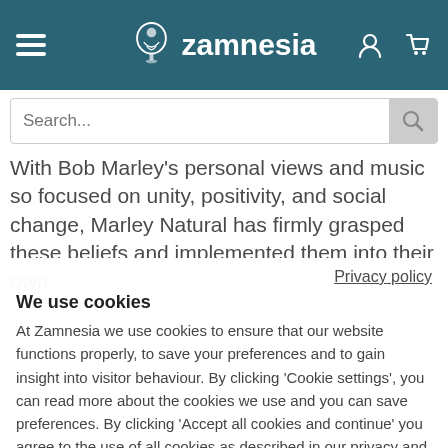[Figure (logo): Zamnesia website header with hamburger menu, Zamnesia logo (figure and text), user icon, and cart icon on teal background]
[Figure (screenshot): Search input bar with placeholder 'Search...' and magnifier icon button]
With Bob Marley's personal views and music so focused on unity, positivity, and social change, Marley Natural has firmly grasped these beliefs and implemented them into their own
Privacy policy
We use cookies
At Zamnesia we use cookies to ensure that our website functions properly, to save your preferences and to gain insight into visitor behaviour. By clicking 'Cookie settings', you can read more about the cookies we use and you can save preferences. By clicking 'Accept all cookies and continue' you agree to the use of all cookies as described in our privacy and cookie statement.
Accept all cookies and continue
Cookie settings